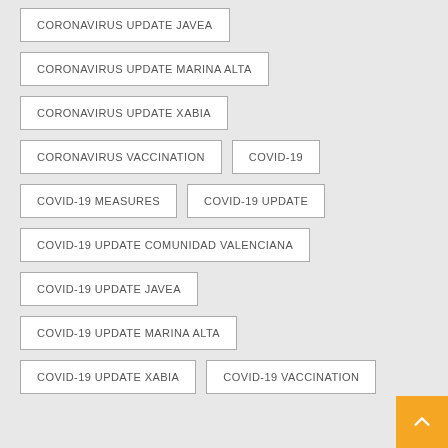CORONAVIRUS UPDATE JAVEA
CORONAVIRUS UPDATE MARINA ALTA
CORONAVIRUS UPDATE XABIA
CORONAVIRUS VACCINATION
COVID-19
COVID-19 MEASURES
COVID-19 UPDATE
COVID-19 UPDATE COMUNIDAD VALENCIANA
COVID-19 UPDATE JAVEA
COVID-19 UPDATE MARINA ALTA
COVID-19 UPDATE XABIA
COVID-19 VACCINATION